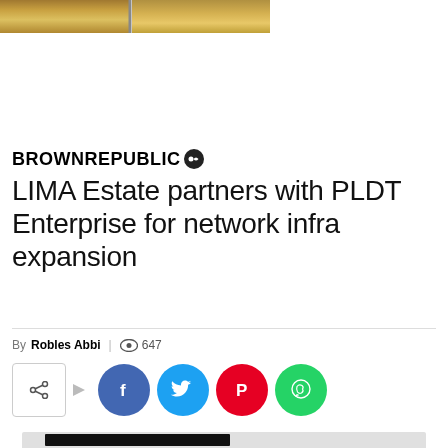[Figure (photo): Partial view of a wooden surface or furniture, shown as a horizontal banner image at the top of the page]
BROWNREPUBLIC
LIMA Estate partners with PLDT Enterprise for network infra expansion
By Robles Abbi | 647
[Figure (infographic): Social sharing buttons: share icon box with arrow, followed by Facebook (blue circle with f), Twitter (cyan circle with bird), Pinterest (red circle with P), WhatsApp (green circle with phone icon)]